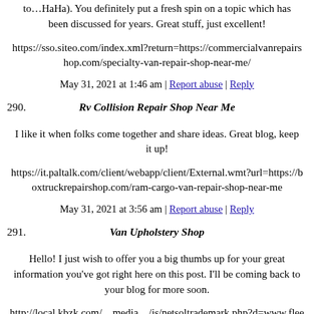to…HaHa). You definitely put a fresh spin on a topic which has been discussed for years. Great stuff, just excellent!
https://sso.siteo.com/index.xml?return=https://commercialvanrepairshop.com/specialty-van-repair-shop-near-me/
May 31, 2021 at 1:46 am | Report abuse | Reply
290. Rv Collision Repair Shop Near Me
I like it when folks come together and share ideas. Great blog, keep it up!
https://it.paltalk.com/client/webapp/client/External.wmt?url=https://boxtruckrepairshop.com/ram-cargo-van-repair-shop-near-me
May 31, 2021 at 3:56 am | Report abuse | Reply
291. Van Upholstery Shop
Hello! I just wish to offer you a big thumbs up for your great information you've got right here on this post. I'll be coming back to your blog for more soon.
http://local.kbzk.com/__media__/js/netsoltrademark.php?d=www.fleetservicesorangecounty.com/sprinter-van-